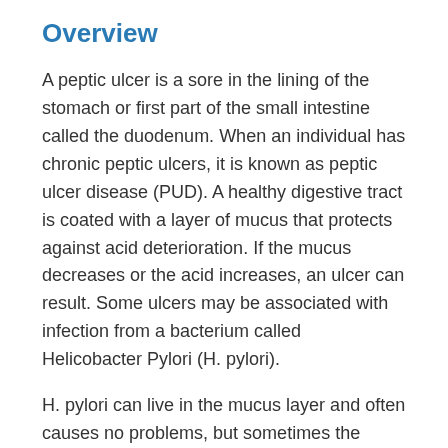Overview
A peptic ulcer is a sore in the lining of the stomach or first part of the small intestine called the duodenum. When an individual has chronic peptic ulcers, it is known as peptic ulcer disease (PUD). A healthy digestive tract is coated with a layer of mucus that protects against acid deterioration. If the mucus decreases or the acid increases, an ulcer can result. Some ulcers may be associated with infection from a bacterium called Helicobacter Pylori (H. pylori).
H. pylori can live in the mucus layer and often causes no problems, but sometimes the bacterium can cause inflammation in the stomach lining and slowly produce an ulcer. H.